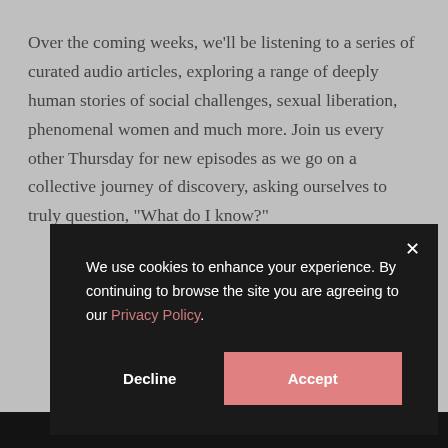Over the coming weeks, we'll be listening to a series of curated audio articles, exploring a range of deeply human stories of social challenges, sexual liberation, phenomenal women and much more. Join us every other Thursday for new episodes as we go on a collective journey of discovery, asking ourselves to truly question, "What do I know?"
[Figure (screenshot): Cookie consent modal overlay on dark background with close button (×), text 'We use cookies to enhance your experience. By continuing to browse the site you are agreeing to our Privacy Policy.', a Decline button and a pink Accept button.]
ACKER   MACKEY   GARNER